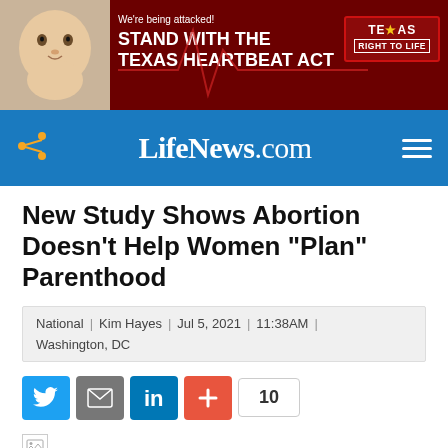[Figure (infographic): Banner advertisement for Texas Right to Life featuring a baby photo on left, bold white text 'We're being attacked! STAND WITH THE TEXAS HEARTBEAT ACT' on dark red background with heartbeat line graphic, and Texas Right to Life logo on right]
LifeNews.com
New Study Shows Abortion Doesn’t Help Women “Plan” Parenthood
National | Kim Hayes | Jul 5, 2021 | 11:38AM | Washington, DC
[Figure (infographic): Social sharing buttons row: Twitter (blue bird icon), Email (gray envelope icon), LinkedIn (blue 'in' icon), Plus/share (orange plus icon), and a share count badge showing '10']
[Figure (photo): Broken image placeholder icon in bottom left of content area]